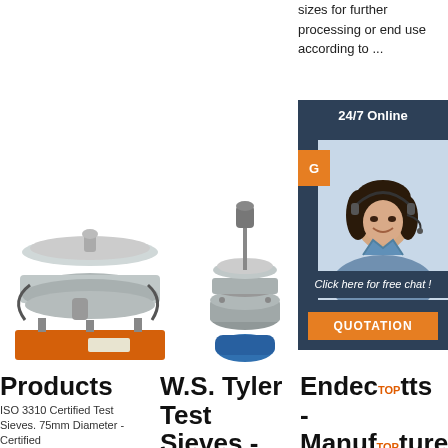sizes for further processing or end use according to ...
[Figure (other): 24/7 online chat widget with female customer service agent wearing headset, orange quotation button, and 'Click here for free chat!' text]
[Figure (photo): Industrial rotary vibrating sieve/screen machine with orange base on left]
[Figure (photo): Smaller industrial sieve machine with blue base in center]
Products
ISO 3310 Certified Test Sieves. 75mm Diameter - Certified
W.S. Tyler Test Sieves - Particle
Endecotts - Manufacturers Of Test